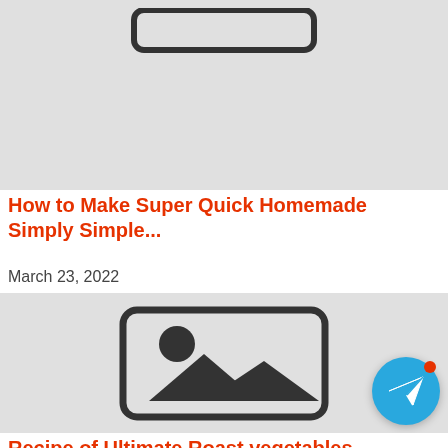[Figure (illustration): Gray placeholder image area at top with a phone/device icon sketch at the top edge]
How to Make Super Quick Homemade Simply Simple...
March 23, 2022
[Figure (illustration): Gray placeholder image with a generic image placeholder icon (mountain and sun inside a rectangle frame)]
Recipe of Ultimate Roast vegetables